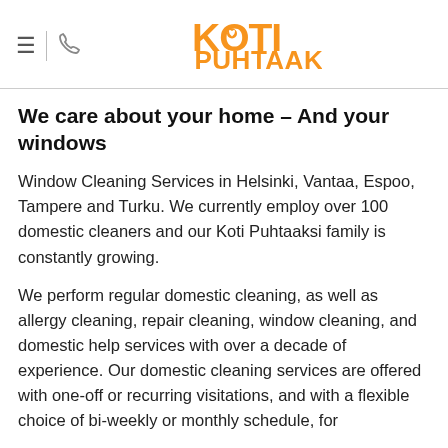[Figure (logo): Koti Puhtaaksi logo — orange stylized text with a heart icon]
We care about your home – And your windows
Window Cleaning Services in Helsinki, Vantaa, Espoo, Tampere and Turku. We currently employ over 100 domestic cleaners and our Koti Puhtaaksi family is constantly growing.
We perform regular domestic cleaning, as well as allergy cleaning, repair cleaning, window cleaning, and domestic help services with over a decade of experience. Our domestic cleaning services are offered with one-off or recurring visitations, and with a flexible choice of bi-weekly or monthly schedule, for